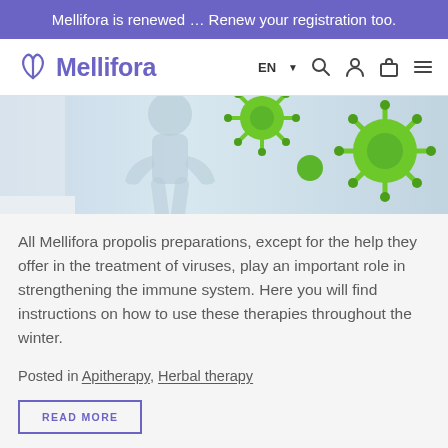Mellifora is renewed … Renew your registration too.
[Figure (logo): Mellifora logo with stylized leaf/wing icon and purple wordmark, navigation bar with EN language selector, search, account, cart, and menu icons]
[Figure (photo): Hero image showing a human body silhouette in light blue-gray with green virus/coronavirus particles floating around it]
All Mellifora propolis preparations, except for the help they offer in the treatment of viruses, play an important role in strengthening the immune system. Here you will find instructions on how to use these therapies throughout the winter.
Posted in Apitherapy, Herbal therapy
READ MORE